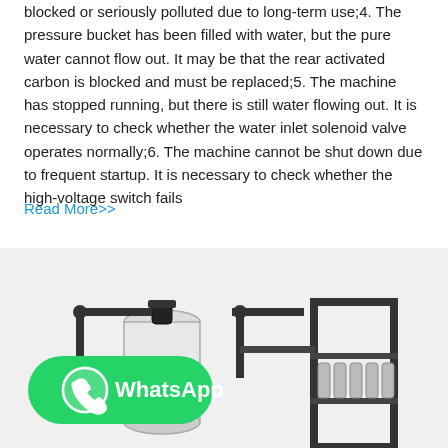blocked or seriously polluted due to long-term use;4. The pressure bucket has been filled with water, but the pure water cannot flow out. It may be that the rear activated carbon is blocked and must be replaced;5. The machine has stopped running, but there is still water flowing out. It is necessary to check whether the water inlet solenoid valve operates normally;6. The machine cannot be shut down due to frequent startup. It is necessary to check whether the high-voltage switch fails
Read More>>
[Figure (photo): Industrial water filtration/purification system with tanks, pipes, and filter units, with a WhatsApp contact button overlay in the lower left.]